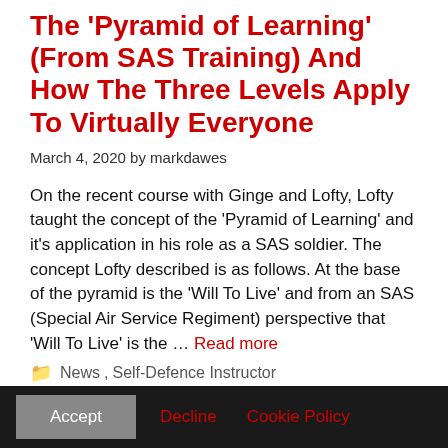The 'Pyramid of Learning' (From SAS Training) And How The Three Levels Apply To Virtually Everyone
March 4, 2020 by markdawes
On the recent course with Ginge and Lofty, Lofty taught the concept of the 'Pyramid of Learning' and it's application in his role as a SAS soldier. The concept Lofty described is as follows. At the base of the pyramid is the 'Will To Live' and from an SAS (Special Air Service Regiment) perspective that 'Will To Live' is the … Read more
News, Self-Defence Instructor
Accept | Decline | Cookie Policy